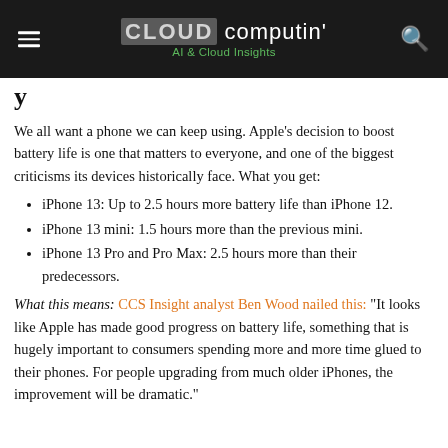CLOUD computin' | AI & Cloud Insights
y
We all want a phone we can keep using. Apple's decision to boost battery life is one that matters to everyone, and one of the biggest criticisms its devices historically face. What you get:
iPhone 13: Up to 2.5 hours more battery life than iPhone 12.
iPhone 13 mini: 1.5 hours more than the previous mini.
iPhone 13 Pro and Pro Max: 2.5 hours more than their predecessors.
What this means: CCS Insight analyst Ben Wood nailed this: “It looks like Apple has made good progress on battery life, something that is hugely important to consumers spending more and more time glued to their phones. For people upgrading from much older iPhones, the improvement will be dramatic.”